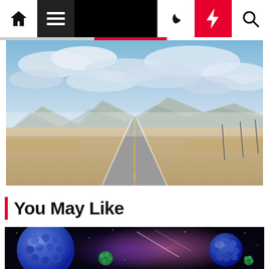Navigation bar with home, menu, dark mode, trending, and search icons
[Figure (photo): A long straight desert highway stretching to the horizon with mountains and cloudy blue sky]
You May Like
[Figure (illustration): Scientific illustration showing blue spherical molecular structures (buckyballs/fullerenes) floating in a colorful space nebula background]